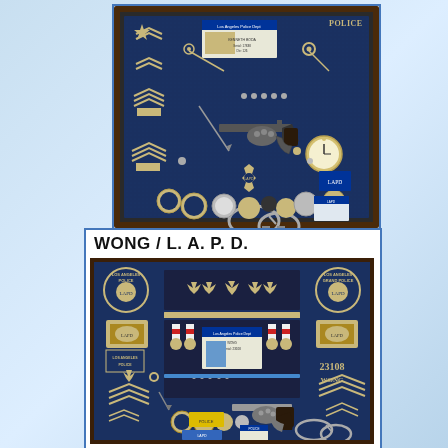[Figure (photo): A police shadow box/retirement display case with dark navy blue velvet background showing a revolver handgun, handcuffs, police badges, rank chevrons, challenge coins, keys, a pocket watch, ID cards, and other law enforcement memorabilia arranged in a wooden frame.]
WONG / L. A. P. D.
[Figure (photo): A second police shadow box/retirement display case for WONG / L.A.P.D. with dark navy blue velvet background showing LAPD patches, badges, rank chevrons, medals with ribbons, challenge coins, a revolver handgun, handcuffs, ID cards, badge number 23108, and the name WONG arranged in a dark wooden frame.]